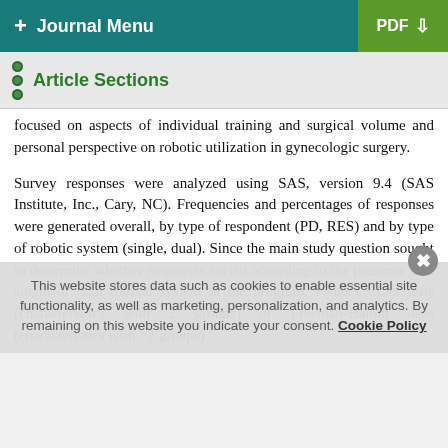+ Journal Menu | PDF
Article Sections
focused on aspects of individual training and surgical volume and personal perspective on robotic utilization in gynecologic surgery.
Survey responses were analyzed using SAS, version 9.4 (SAS Institute, Inc., Cary, NC). Frequencies and percentages of responses were generated overall, by type of respondent (PD, RES) and by type of robotic system (single, dual). Since the main study question sought to determine whether responses varied according to the presence of a single or dual robotic system in the program, Fisher's exact tests (characteristics with 2 groups) or Freeman-Halton tests (characteristics with >2 groups)
This website stores data such as cookies to enable essential site functionality, as well as marketing, personalization, and analytics. By remaining on this website you indicate your consent. Cookie Policy